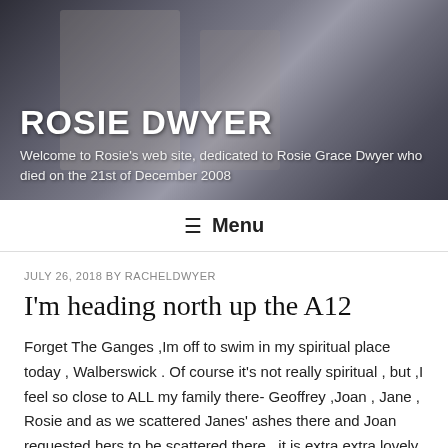[Figure (photo): Header photo of a group of people including children on a street, with a bicycle visible. Dark/muted tones. Site header banner for Rosie Dwyer website.]
ROSIE DWYER
Welcome to Rosie's web site, dedicated to Rosie Grace Dwyer who died on the 21st of December 2008
≡ Menu
JULY 26, 2018 BY RACHELDWYER
I'm heading north up the A12
Forget The Ganges ,Im off to swim in my spiritual place today , Walberswick . Of course it's not really spiritual , but ,I feel so close to ALL my family there- Geoffrey ,Joan , Jane , Rosie and as we scattered Janes' ashes there and Joan requested hers to be scattered there , it is extra extra lovely